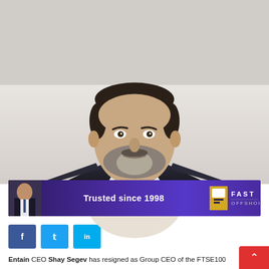[Figure (photo): Professional headshot of a middle-aged man with a beard wearing a dark suit and tie, against a light background]
ENTAIN SEEKS NEW CEO AS SEGEV DEPARTS TO DAZN
Ted Menmuir   January 11, 2021
Europe, Featured News, Latest News, Retail, UK
Comments Off on Entain seeks new CEO as Segev departs to DAZN
[Figure (advertisement): Fast Offshore advertisement banner with purple background reading 'Trusted since 1998' with company logo]
[Figure (infographic): Social share buttons: Facebook (blue), Twitter (light blue), LinkedIn (light blue)]
Entain CEO Shay Segev has resigned as Group CEO of the FTSE100